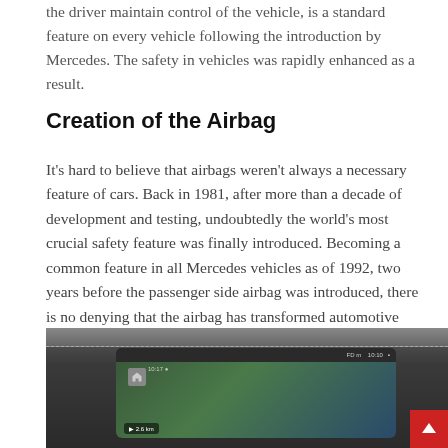the driver maintain control of the vehicle, is a standard feature on every vehicle following the introduction by Mercedes. The safety in vehicles was rapidly enhanced as a result.
Creation of the Airbag
It's hard to believe that airbags weren't always a necessary feature of cars. Back in 1981, after more than a decade of development and testing, undoubtedly the world's most crucial safety feature was finally introduced. Becoming a common feature in all Mercedes vehicles as of 1992, two years before the passenger side airbag was introduced, there is no denying that the airbag has transformed automotive health and safety.
[Figure (photo): Photo of a car dashboard with a touchscreen navigation display showing a map, with a home button and navigation information visible. A red scroll-to-top button is in the bottom right corner.]